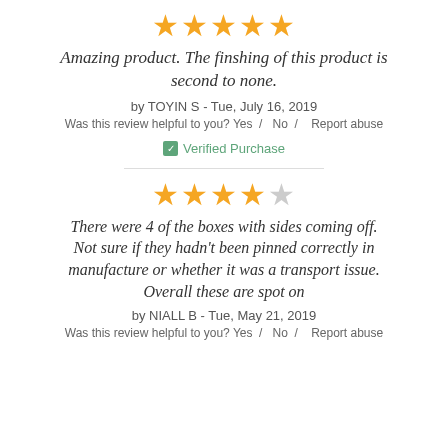[Figure (other): 5 filled gold stars rating]
Amazing product. The finshing of this product is second to none.
by TOYIN S - Tue, July 16, 2019
Was this review helpful to you? Yes /  No /   Report abuse
✅ Verified Purchase
[Figure (other): 4 filled gold stars and 1 empty star rating]
There were 4 of the boxes with sides coming off. Not sure if they hadn't been pinned correctly in manufacture or whether it was a transport issue. Overall these are spot on
by NIALL B - Tue, May 21, 2019
Was this review helpful to you? Yes /  No /   Report abuse